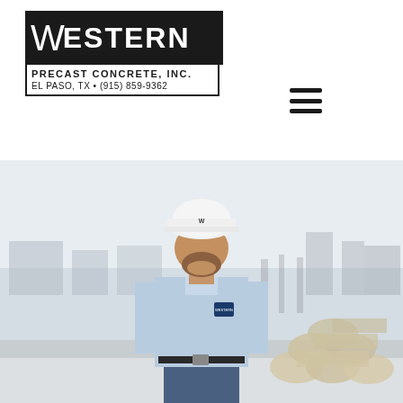[Figure (logo): Western Precast Concrete, Inc. logo — white 'W' and 'ESTERN' on black background, with 'PRECAST CONCRETE, INC.' and 'EL PASO, TX • (915) 859-9362' below in a bordered box]
[Figure (other): Hamburger menu icon (three horizontal lines) in the upper right]
[Figure (photo): A male construction worker wearing a white hard hat with the Western logo, a light blue long-sleeve button-up shirt with a company badge, standing outdoors at a precast concrete yard with large concrete pipes stacked in the background]